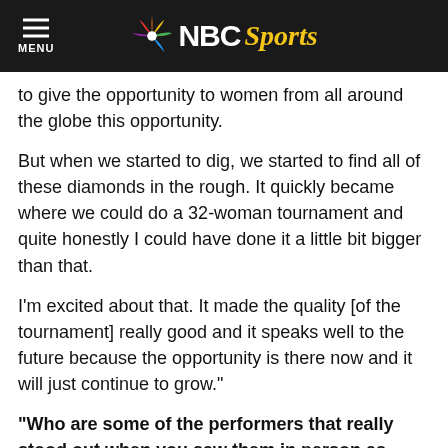NBC Sports
to give the opportunity to women from all around the globe this opportunity.
But when we started to dig, we started to find all of these diamonds in the rough. It quickly became where we could do a 32-woman tournament and quite honestly I could have done it a little bit bigger than that.
I'm excited about that. It made the quality [of the tournament] really good and it speaks well to the future because the opportunity is there now and it will just continue to grow."
“Who are some of the performers that really stood out when you saw them in person as opposed to watching videos of them?"
“Jazzy Gabert from Germany was a real standout performer. I'd seen tape of her and was obviously aware